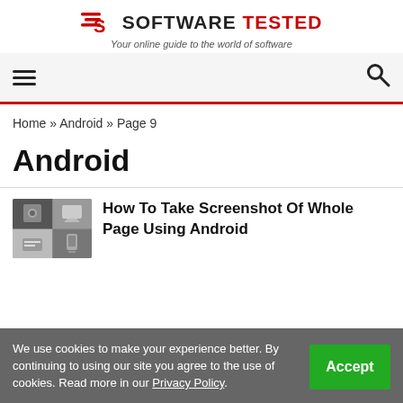[Figure (logo): Software Tested logo with red speed-lines S icon and bold text SOFTWARE TESTED]
Your online guide to the world of software
[Figure (screenshot): Navigation bar with hamburger menu icon on left and search icon on right, with red bottom border]
Home » Android » Page 9
Android
How To Take Screenshot Of Whole Page Using Android
We use cookies to make your experience better. By continuing to using our site you agree to the use of cookies. Read more in our Privacy Policy.